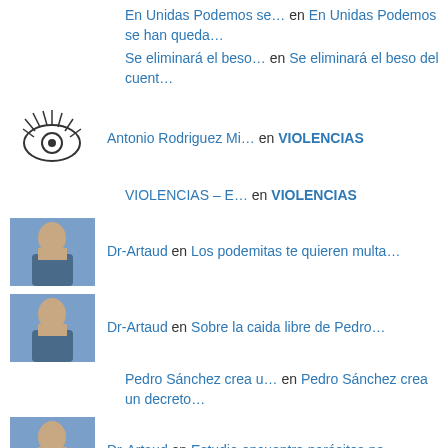En Unidas Podemos se… en En Unidas Podemos se han queda…
Se eliminará el beso… en Se eliminará el beso del cuent…
Antonio Rodriguez Mi… en VIOLENCIAS
VIOLENCIAS – E… en VIOLENCIAS
Dr-Artaud en Los podemitas te quieren multa…
Dr-Artaud en Sobre la caida libre de Pedro…
Pedro Sánchez crea u… en Pedro Sánchez crea un decreto…
Dr-Artaud en Estudio encuentra parásitos pe…
ramrock en I hate most people!